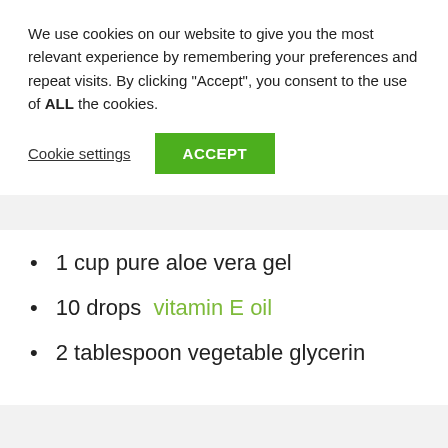We use cookies on our website to give you the most relevant experience by remembering your preferences and repeat visits. By clicking “Accept”, you consent to the use of ALL the cookies.
Cookie settings | ACCEPT
1 cup pure aloe vera gel
10 drops  vitamin E oil
2 tablespoon vegetable glycerin